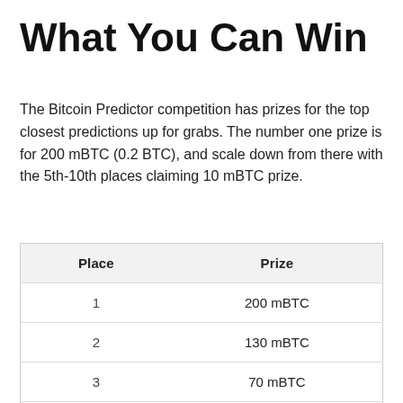What You Can Win
The Bitcoin Predictor competition has prizes for the top closest predictions up for grabs. The number one prize is for 200 mBTC (0.2 BTC), and scale down from there with the 5th-10th places claiming 10 mBTC prize.
| Place | Prize |
| --- | --- |
| 1 | 200 mBTC |
| 2 | 130 mBTC |
| 3 | 70 mBTC |
| 4 | 30 mBTC |